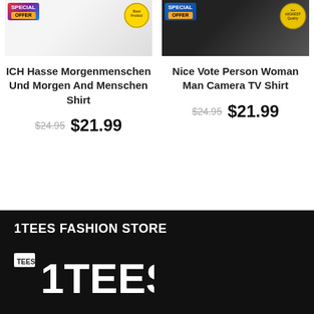[Figure (photo): Product image of white shirt with Special Offer badge and circular red/gold product badge on white background]
[Figure (photo): Product image of black shirt with Special Offer badge and gold Highest Quality badge]
ICH Hasse Morgenmenschen Und Morgen And Menschen Shirt
$24.95 $21.99
Nice Vote Person Woman Man Camera TV Shirt
$24.95 $21.99
1TEES FASHION STORE
[Figure (logo): 1TEES logo in white on black background]